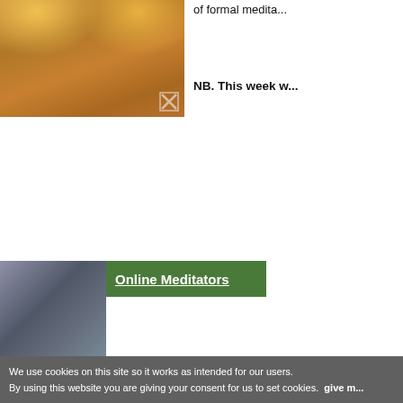[Figure (photo): Temple or garden pathway with flowers and orange/brick floor, partially visible, cropped at top]
of formal medita...
NB. This week w...
[Figure (photo): Person meditating in a room, thumbnail image for Online Meditators section]
Online Meditators
[Figure (photo): Collection of Buddha statues of various sizes and materials arranged on stone/brick pedestals]
meditation for fe...
By Candradasa o...
Hi all, thanks for s... with some of you ... Let's keep it going...
We'll be starting P... voyage towards a... reference. Join u...
We use cookies on this site so it works as intended for our users. By using this website you are giving your consent for us to set cookies. give m...